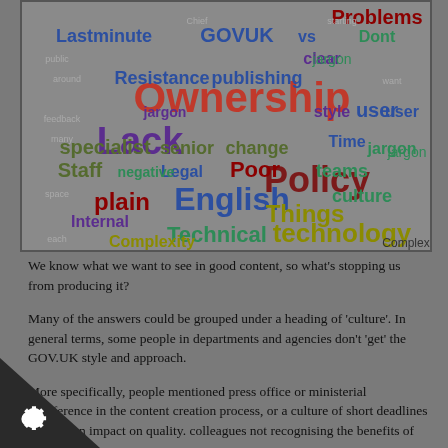[Figure (infographic): Word cloud showing barriers to good content on GOV.UK. Large words include: Ownership (red), Lack (dark purple), Policy (dark red/maroon), English (blue), Things (olive/green), technology (olive), Technical (teal/green), Complexity (olive), publishing (blue), plain (dark red), jargon (teal), culture (teal), Poor (dark red), Internal (dark purple), Legal (dark blue), negative (teal), Staff (olive), senior (olive), change (olive), teams (teal), user (dark blue), Time (dark blue), style (dark purple/olive), specialist (olive), Resistance (blue), Lastminute (blue), GOVUK (blue), vs (blue), Dont (teal), Problems (dark red/maroon)]
We know what we want to see in good content, so what’s stopping us from producing it?
Many of the answers could be grouped under a heading of ‘culture’. In general terms, some people in departments and agencies don’t ‘get’ the GOV.UK style and approach.
More specifically, people mentioned press office or ministerial interference in the content creation process, or a culture of short deadlines that has an impact on quality. colleagues not recognising the benefits of plain ...or other theme...